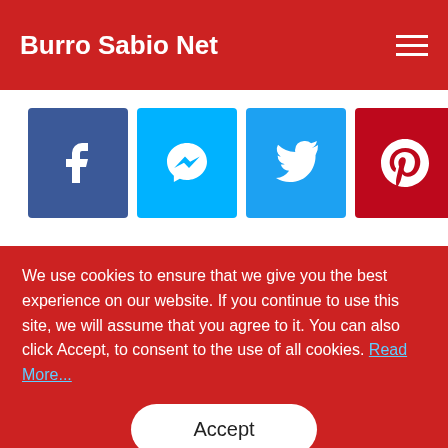Burro Sabio Net
[Figure (other): Row of 7 social media share buttons: Facebook (dark blue), Messenger (light blue), Twitter (blue), Pinterest (red/dark), WhatsApp (green), Tumblr (dark blue-gray), Telegram (blue)]
Content (Click to view)
We use cookies to ensure that we give you the best experience on our website. If you continue to use this site, we will assume that you agree to it. You can also click Accept, to consent to the use of all cookies. Read More...
Accept